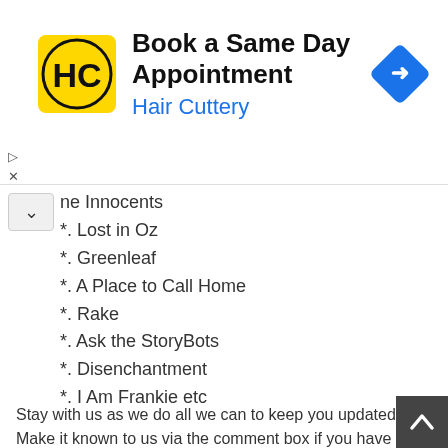[Figure (logo): Hair Cuttery advertisement banner with HC logo, text 'Book a Same Day Appointment' and 'Hair Cuttery', and a blue diamond navigation arrow icon]
ne Innocents
*. Lost in Oz
*. Greenleaf
*. A Place to Call Home
*. Rake
*. Ask the StoryBots
*. Disenchantment
*. I Am Frankie etc
Stay with us as we do all we can to keep you updated. Make it known to us via the comment box if you have any concerning the article www o2tvseries com
Also, Read
1: Best Site to watch Korean Movies